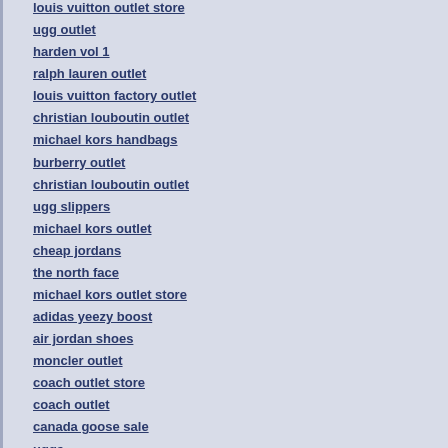louis vuitton outlet store
ugg outlet
harden vol 1
ralph lauren outlet
louis vuitton factory outlet
christian louboutin outlet
michael kors handbags
burberry outlet
christian louboutin outlet
ugg slippers
michael kors outlet
cheap jordans
the north face
michael kors outlet store
adidas yeezy boost
air jordan shoes
moncler outlet
coach outlet store
coach outlet
canada goose sale
uggs
ralph lauren outlet
cheap ray ban sunglasses
coach outlet store
ugg australia
toms shoes
coach bags